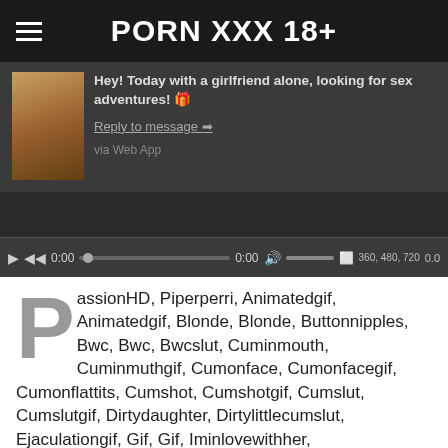PORN XXX 18+
[Figure (screenshot): Video player with a message overlay showing a thumbnail image, message text 'Hey! Today with a girlfriend alone, looking for sex adventures!', a reply link, 'via Web App' text, and a video controls bar showing 0:00 timestamp, progress bar, volume, and resolution options 360, 480, 720.]
PassionHD, Piperperri, Animatedgif, Animatedgif, Blonde, Blonde, Buttonnipples, Bwc, Bwc, Bwcslut, Cuminmouth, Cuminmuthgif, Cumonface, Cumonfacegif, Cumonflattits, Cumshot, Cumshotgif, Cumslut, Cumslutgif, Dirtydaughter, Dirtylittlecumslut, Ejaculationgif, Gif, Gif, Iminlovewithher, Iwanttotastethattongue, Piperperri, Repositorygif, Slim, Slut, Spoogedgif, Subversivesfavgif, Subversivesittybittytitties, Subversiveslittlebitch, Target, Teen, White
Read more https://porn-slice.up.com/beautiful